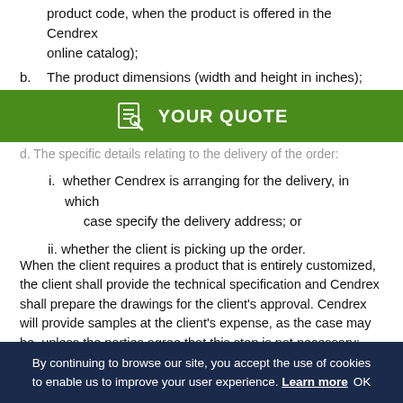product code, when the product is offered in the Cendrex online catalog);
b. The product dimensions (width and height in inches);
[Figure (other): Green banner with document icon and text YOUR QUOTE]
d. The specific details relating to the delivery of the order:
i. whether Cendrex is arranging for the delivery, in which case specify the delivery address; or
ii. whether the client is picking up the order.
When the client requires a product that is entirely customized, the client shall provide the technical specification and Cendrex shall prepare the drawings for the client's approval. Cendrex will provide samples at the client's expense, as the case may be, unless the parties agree that this step is not necessary; any order placed by the client for a product based on a drawing prepared by Cendrex is equivalent to acceptance of the drawing. Cendrex's liability shall be limited to providing the material as approved by the client.
By continuing to browse our site, you accept the use of cookies to enable us to improve your user experience. Learn more OK